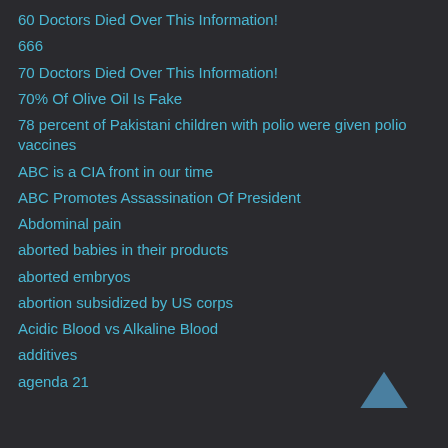60 Doctors Died Over This Information!
666
70 Doctors Died Over This Information!
70% Of Olive Oil Is Fake
78 percent of Pakistani children with polio were given polio vaccines
ABC is a CIA front in our time
ABC Promotes Assassination Of President
Abdominal pain
aborted babies in their products
aborted embryos
abortion subsidized by US corps
Acidic Blood vs Alkaline Blood
additives
agenda 21